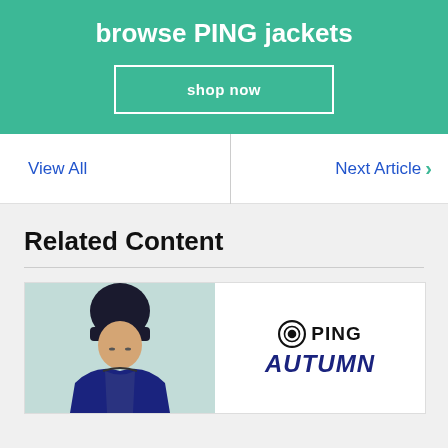browse PING jackets
shop now
View All
Next Article ›
Related Content
[Figure (photo): Model wearing black beanie hat and dark jacket, with PING logo and AUTUMN text on the right side of the card]